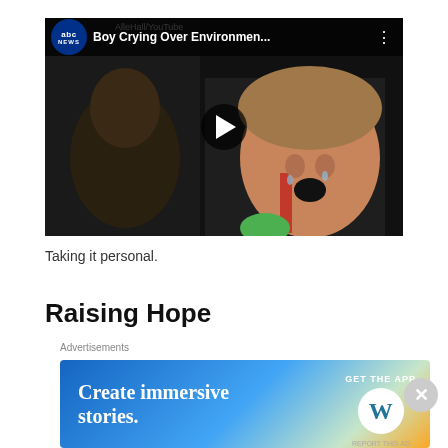[Figure (screenshot): YouTube video embed showing ABC News video titled 'Boy Crying Over Environmen...' with a boy crying in a car seat, play button overlay, and YouTube-style top bar with abc NEWS logo]
Taking it personal.
Raising Hope
Thankfully, kids have formidable empathy! Their desire to do good will be a powerful force towards
Advertisements
[Figure (screenshot): WordPress advertisement banner: 'Create immersive stories.' with GET THE APP button and WordPress logo, gradient blue/green/yellow background]